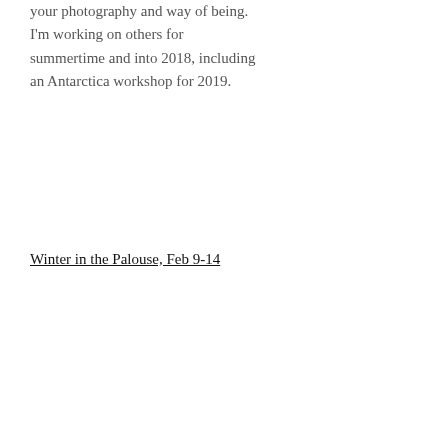your photography and way of being. I'm working on others for summertime and into 2018, including an Antarctica workshop for 2019.
Winter in the Palouse, Feb 9-14